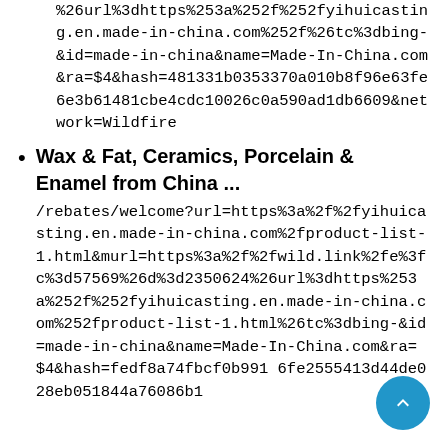%26url%3dhttps%253a%252f%252fyihuicasting.en.made-in-china.com%252f%26tc%3dbing-&id=made-in-china&name=Made-In-China.com&ra=$4&hash=481331b0353370a010b8f96e63fe6e3b61481cbe4cdc10026c0a590ad1db6609&network=Wildfire
Wax & Fat, Ceramics, Porcelain & Enamel from China ... /rebates/welcome?url=https%3a%2f%2fyihuicasting.en.made-in-china.com%2fproduct-list-1.html&murl=https%3a%2f%2fwild.link%2fe%3fc%3d57569%26d%3d2350624%26url%3dhttps%253a%252f%252fyihuicasting.en.made-in-china.com%252fproduct-list-1.html%26tc%3dbing-&id=made-in-china&name=Made-In-China.com&ra=$4&hash=fedf8a74fbcf0b991 6fe2555413d44de028eb051844a76086b1